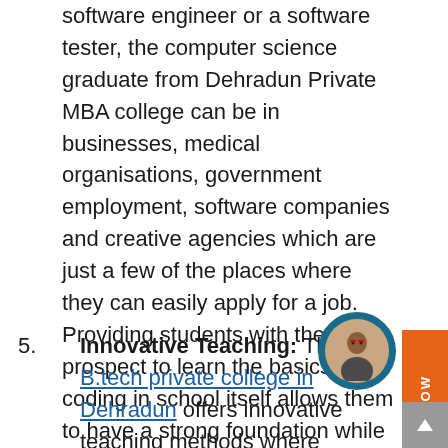software engineer or a software tester, the computer science graduate from Dehradun Private MBA college can be in businesses, medical organisations, government employment, software companies and creative agencies which are just a few of the places where they can easily apply for a job. Providing students with the prospect to learn the basics of coding in school itself allows them to have a strong foundation while pursuing their degree. This helps in developing and acquiring more skills in specific disciplines.
5. Innovative Teaching: The top B.tech private college in Dehradun offers innovative teaching methods where